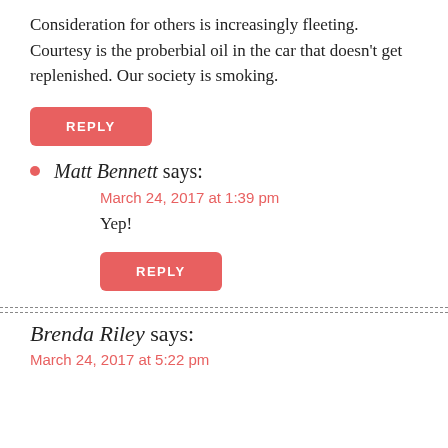Consideration for others is increasingly fleeting. Courtesy is the proberbial oil in the car that doesn't get replenished. Our society is smoking.
REPLY
Matt Bennett says:
March 24, 2017 at 1:39 pm
Yep!
REPLY
Brenda Riley says:
March 24, 2017 at 5:22 pm